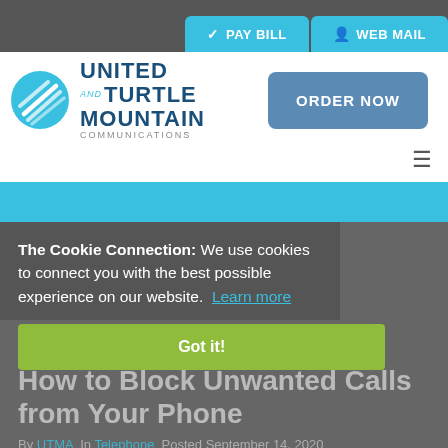PAY BILL  WEB MAIL
[Figure (logo): United and Turtle Mountain Communications logo with blue circular icon and ORDER NOW button]
The Cookie Connection: We use cookies to connect you with the best possible experience on our website. Learn more  Got it!
How to Block Unwanted Calls from Your Phone
By UTMA  In Telephone  Posted September 14, 2020